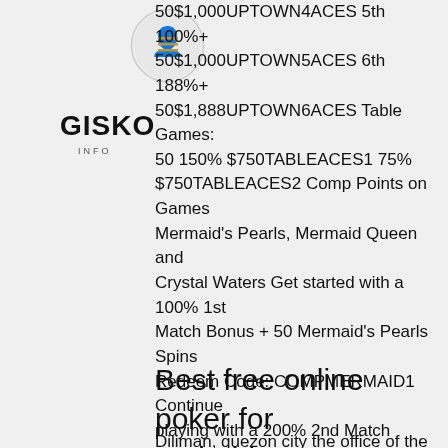[Figure (logo): Circular logo with face illustration and GISKO text below]
50$1,000UPTOWN4ACES 5th 100%+ 50$1,000UPTOWN5ACES 6th 188%+ 50$1,888UPTOWN6ACES Table Games: 50 150% $750TABLEACES1 75% $750TABLEACES2 Comp Points on Games Mermaid's Pearls, Mermaid Queen and Crystal Waters Get started with a 100% 1st Match Bonus + 50 Mermaid's Pearls Spins Redeem Code: COMPMERMAID1 Continue playing with a 200% 2nd Match Bonus + 100 Mermaid Queen Spins Redeem Code: COMPMERMAID2 Get after 200 Free Spins Reward on Crystal Waters Redeem Code: 200COMPMERMAID The coupons have to be redeemed in the order they appear. Deposit bonuses require a $25 plus deposit, and they have a 30xs rollover, degree program with available slot up diliman.
Best free online poker for android
Diliman, quezon city the office of the